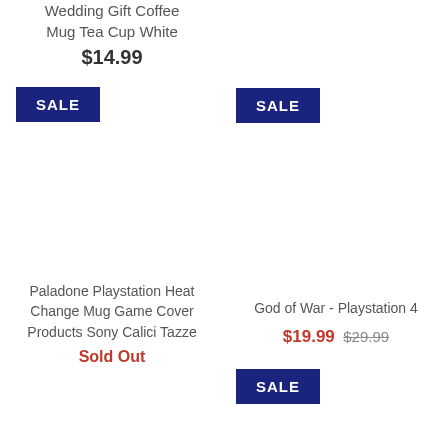Wedding Gift Coffee Mug Tea Cup White
$14.99
SALE
SALE
Paladone Playstation Heat Change Mug Game Cover Products Sony Calici Tazze
Sold Out
God of War - Playstation 4
$19.99 $29.99
SALE